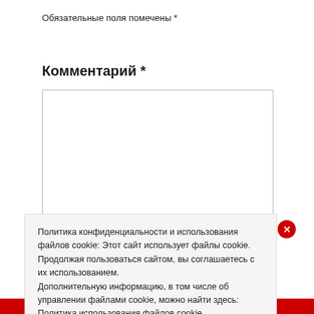Обязательные поля помечены *
Комментарий *
[Figure (screenshot): Empty textarea input box for comment field]
Имя *
Политика конфиденциальности и использования файлов cookie: Этот сайт использует файлы cookie. Продолжая пользоваться сайтом, вы соглашаетесь с их использованием. Дополнительную информацию, в том числе об управлении файлами cookie, можно найти здесь: Политика использования файлов cookie
Принять и закрыть
ПОЖАЛОВАТЬСЯ НА ЭТО ЗАПОЛНЕНИЕ